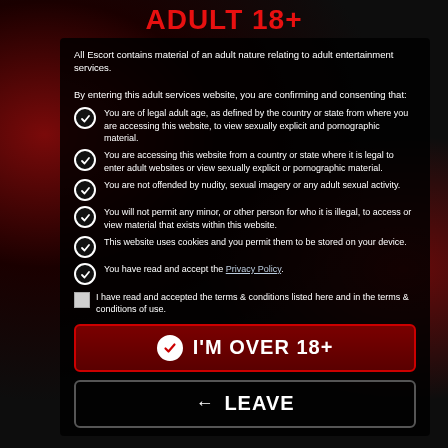ADULT 18+
All Escort contains material of an adult nature relating to adult entertainment services.

By entering this adult services website, you are confirming and consenting that:
You are of legal adult age, as defined by the country or state from where you are accessing this website, to view sexually explicit and pornographic material.
You are accessing this website from a country or state where it is legal to enter adult websites or view sexually explicit or pornographic material.
You are not offended by nudity, sexual imagery or any adult sexual activity.
You will not permit any minor, or other person for who it is illegal, to access or view material that exists within this website.
This website uses cookies and you permit them to be stored on your device.
You have read and accept the Privacy Policy.
I have read and accepted the terms & conditions listed here and in the terms & conditions of use.
I'M OVER 18+
LEAVE